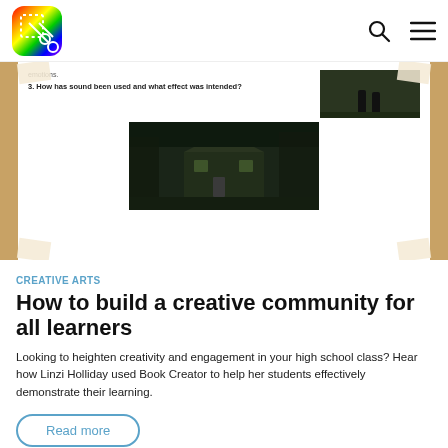[Figure (screenshot): App logo with colorful gradient and dotted scissors/cut icon]
[Figure (screenshot): Screenshot of a Book Creator page showing text questions about film: 'emotions.' and '3. How has sound been used and what effect was intended?' with two dark film still images]
CREATIVE ARTS
How to build a creative community for all learners
Looking to heighten creativity and engagement in your high school class? Hear how Linzi Holliday used Book Creator to help her students effectively demonstrate their learning.
Read more